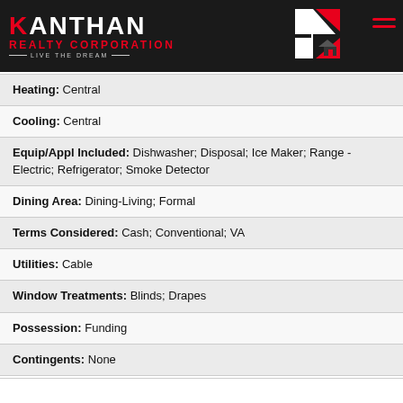[Figure (logo): Kanthan Realty Corporation logo with red and white text on black background, featuring a K-arrow graphic. Tagline: LIVE THE DREAM]
| Heating: Central |
| Cooling: Central |
| Equip/Appl Included: Dishwasher;  Disposal;  Ice Maker;  Range - Electric;  Refrigerator;  Smoke Detector |
| Dining Area: Dining-Living;  Formal |
| Terms Considered: Cash;  Conventional; VA |
| Utilities: Cable |
| Window Treatments: Blinds;  Drapes |
| Possession: Funding |
| Contingents: None |